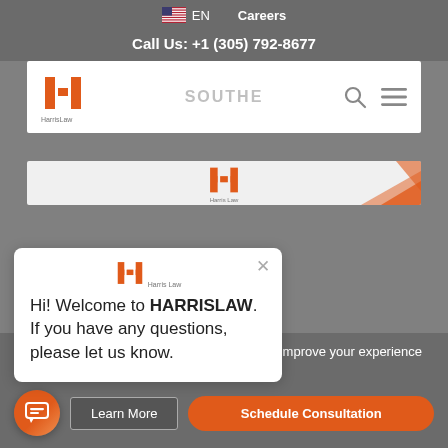EN   Careers
Call Us: +1 (305) 792-8677
[Figure (logo): Harris Law firm logo with orange H icon]
[Figure (screenshot): Website navigation bar with logo, search and menu icons]
Hi! Welcome to HARRISLAW. If you have any questions, please let us know.
r use of cookies to analyze website traffic and improve your experience on our website.
Learn More
Schedule Consultation